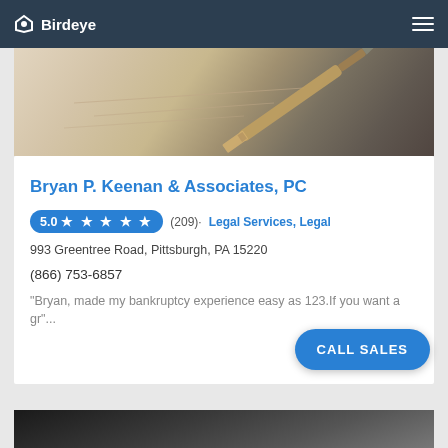Birdeye
[Figure (photo): Close-up photo of a pen on paper with cursive handwriting, warm beige tones]
Bryan P. Keenan & Associates, PC
5.0 ★ ★ ★ ★ ★ (209)· Legal Services, Legal
993 Greentree Road, Pittsburgh, PA 15220
(866) 753-6857
"Bryan, made my bankruptcy experience easy as 123.If you want a gr"...
[Figure (photo): Close-up photo of a pen, dark tones]